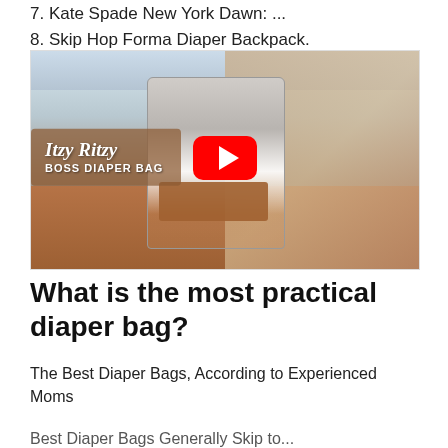7. Kate Spade New York Dawn: ...
8. Skip Hop Forma Diaper Backpack.
[Figure (photo): YouTube video thumbnail showing a woman holding an Itzy Ritzy Boss Diaper Bag backpack with a red YouTube play button overlay and branded text overlay reading 'Itzy Ritzy BOSS DIAPER BAG']
What is the most practical diaper bag?
The Best Diaper Bags, According to Experienced Moms
Best Diaper Bags Generally Ship to...